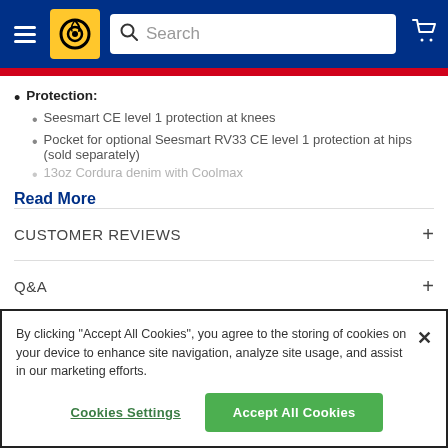[Figure (screenshot): Website header with navy blue background, hamburger menu icon, yellow logo box with tire/wheel icon, search bar with magnifying glass and 'Search' placeholder text, and shopping cart icon on the right]
Protection:
Seesmart CE level 1 protection at knees
Pocket for optional Seesmart RV33 CE level 1 protection at hips (sold separately)
13oz Cordura denim with Coolmax
Read More
CUSTOMER REVIEWS
Q&A
By clicking "Accept All Cookies", you agree to the storing of cookies on your device to enhance site navigation, analyze site usage, and assist in our marketing efforts.